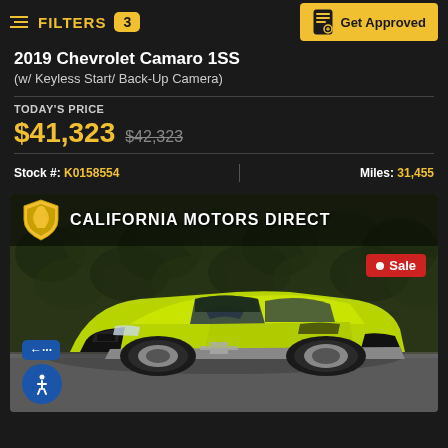FILTERS 3 | Get Approved
2019 Chevrolet Camaro 1SS (w/ Keyless Start/ Back-Up Camera)
TODAY'S PRICE $41,323 $42,323
Stock #: K0158554 | Miles: 31,455
[Figure (photo): Yellow-green 2019 Chevrolet Camaro 1SS parked in front of a dark hedge background at California Motors Direct dealership. A red Sale badge is shown in the upper right of the image.]